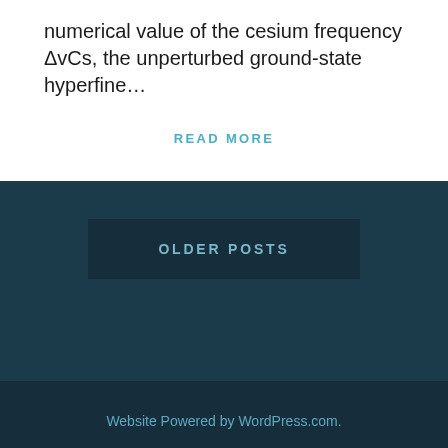numerical value of the cesium frequency ΔvCs, the unperturbed ground-state hyperfine…
READ MORE
OLDER POSTS
Website Powered by WordPress.com.